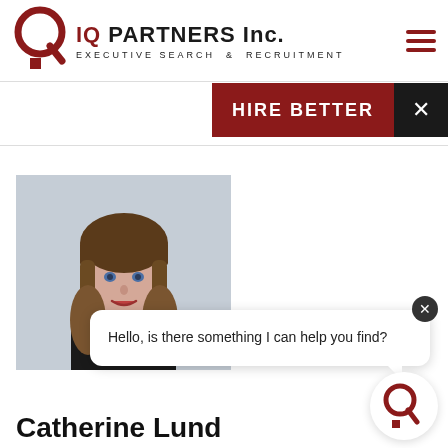[Figure (logo): IQ Partners Inc. Executive Search & Recruitment logo with red circle and Q mark]
HIRE BETTER
[Figure (photo): Professional headshot of Catherine Lund, a woman with long brown hair and bangs, wearing dark clothing, light gray background]
Hello, is there something I can help you find?
[Figure (logo): IQ Partners small red Q logo in circle at bottom right]
Catherine Lund